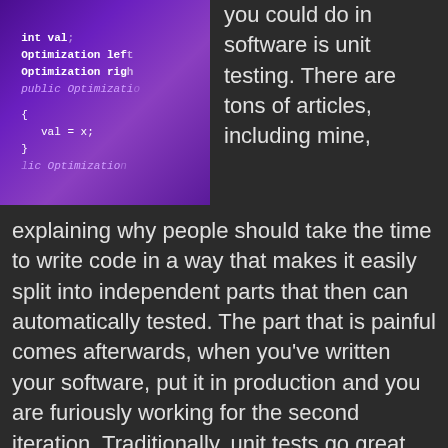[Figure (screenshot): Screenshot of purple-tinted code editor showing Java/C# code with Optimization class, int val, val = x, and curly braces]
best things you could do in software is unit testing. There are tons of articles, including mine, explaining why people should take the time to write code in a way that makes it easily split into independent parts that then can automatically tested. The part that is painful comes afterwards, when you've written your software, put it in production and you are furiously working for the second iteration. Traditionally, unit tests go great for